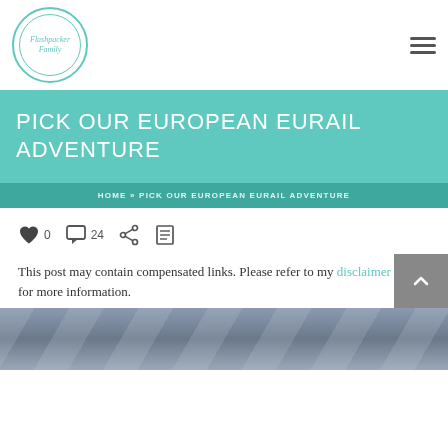Flashpacker Family
PICK OUR EUROPEAN EURAIL ADVENTURE
HOME » PICK OUR EUROPEAN EURAIL ADVENTURE
0  24
This post may contain compensated links. Please refer to my disclaimer here for more information.
[Figure (photo): Cloudy sky photo, grey/blue overcast clouds, visible at the bottom of the page]